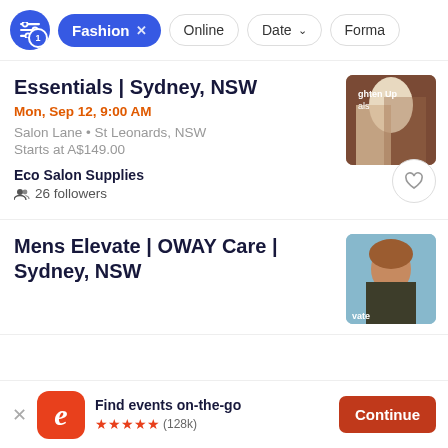Fashion × Online Date ∨ Forma
Essentials | Sydney, NSW
Mon, Sep 12, 9:00 AM
Salon Lane • St Leonards, NSW
Starts at A$149.00
Eco Salon Supplies
26 followers
[Figure (photo): Blonde woman hair salon promotional photo with text 'ghten Up als']
Mens Elevate | OWAY Care | Sydney, NSW
[Figure (photo): Young man with reddish-brown hair promotional photo with text 'vate']
Find events on-the-go ★★★★★ (128k)
Continue